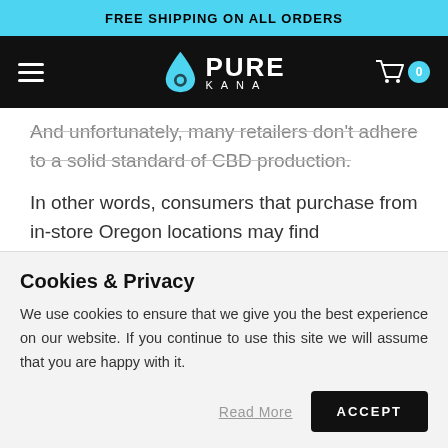FREE SHIPPING ON ALL ORDERS
[Figure (logo): PureKana logo with hamburger menu and cart icon on black navigation bar]
And unfortunately, many retailers don't adhere to a solid standard of CBD production.
In other words, consumers that purchase from in-store Oregon locations may find themselves buying inferior products. At PureKana, we pride ourselves on being one of the most trusted CBD options in the industry. We set the gold standard in CBD
Cookies & Privacy
We use cookies to ensure that we give you the best experience on our website. If you continue to use this site we will assume that you are happy with it.
Read More  ACCEPT